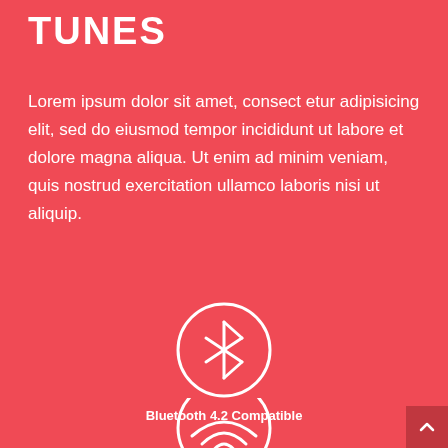TUNES
Lorem ipsum dolor sit amet, consect etur adipisicing elit, sed do eiusmod tempor incididunt ut labore et dolore magna aliqua. Ut enim ad minim veniam, quis nostrud exercitation ullamco laboris nisi ut aliquip.
[Figure (illustration): White circle with Bluetooth icon inside, on red background]
Bluetooth 4.2 Compatible
[Figure (illustration): White circle with WiFi icon inside, on red background, partially cut off at bottom]